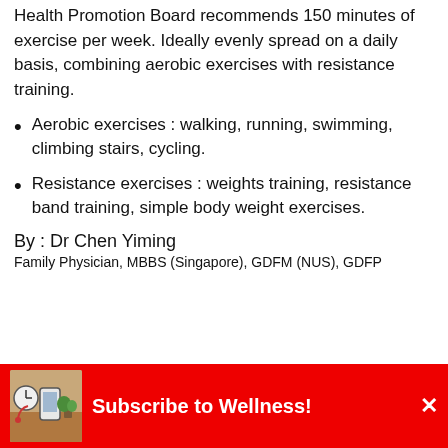Health Promotion Board recommends 150 minutes of exercise per week. Ideally evenly spread on a daily basis, combining aerobic exercises with resistance training.
Aerobic exercises : walking, running, swimming, climbing stairs, cycling.
Resistance exercises : weights training, resistance band training, simple body weight exercises.
By : Dr Chen Yiming
Family Physician, MBBS (Singapore), GDFM (NUS), GDFP
[Figure (infographic): Subscribe to Wellness! banner with red background, thumbnail image of wellness items, and close button]